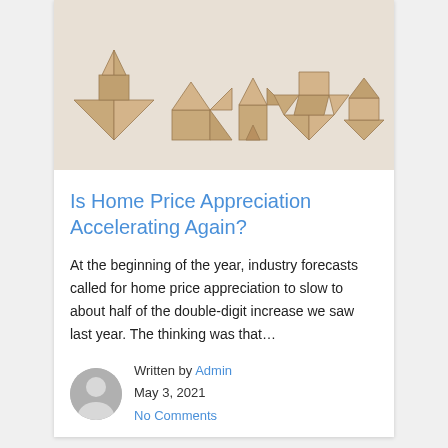[Figure (photo): Tangram puzzle pieces arranged on a beige background, forming house-like and human-like shapes made of light wood.]
Is Home Price Appreciation Accelerating Again?
At the beginning of the year, industry forecasts called for home price appreciation to slow to about half of the double-digit increase we saw last year. The thinking was that…
Written by Admin
May 3, 2021
No Comments